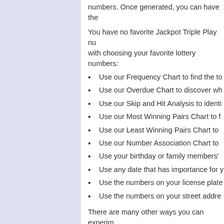numbers. Once generated, you can have the
You have no favorite Jackpot Triple Play numbers with choosing your favorite lottery numbers:
Use our Frequency Chart to find the to
Use our Overdue Chart to discover wh
Use our Skip and Hit Analysis to identi
Use our Most Winning Pairs Chart to f
Use our Least Winning Pairs Chart to
Use our Number Association Chart to
Use your birthday or family members'
Use any date that has importance for y
Use the numbers on your license plate
Use the numbers on your street addre
There are many other ways you can experim to create your own winning combinations.